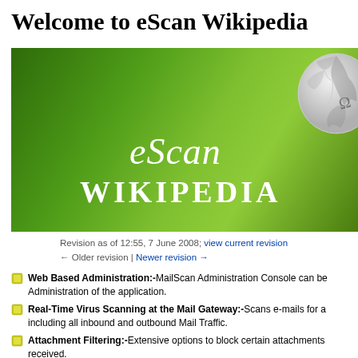Welcome to eScan Wikipedia
[Figure (illustration): eScan Wikipedia banner with green gradient background, 'eScan' in italic white text and 'WIKIPEDIA' in bold white capital letters, with a Wikipedia globe puzzle icon in the top right corner.]
Revision as of 12:55, 7 June 2008; view current revision
← Older revision | Newer revision →
Web Based Administration:-MailScan Administration Console can be Administration of the application.
Real-Time Virus Scanning at the Mail Gateway:-Scans e-mails for a including all inbound and outbound Mail Traffic.
Attachment Filtering:-Extensive options to block certain attachments received.
SMTP Transparent Proxy/SMTP Transport Agent/Journaling T...